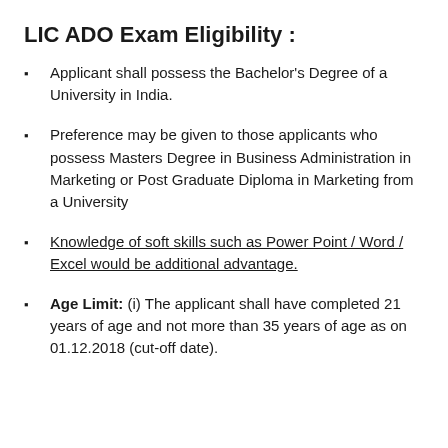LIC ADO Exam Eligibility :
Applicant shall possess the Bachelor's Degree of a University in India.
Preference may be given to those applicants who possess Masters Degree in Business Administration in Marketing or Post Graduate Diploma in Marketing from a University
Knowledge of soft skills such as Power Point / Word / Excel would be additional advantage.
Age Limit: (i) The applicant shall have completed 21 years of age and not more than 35 years of age as on 01.12.2018 (cut-off date).